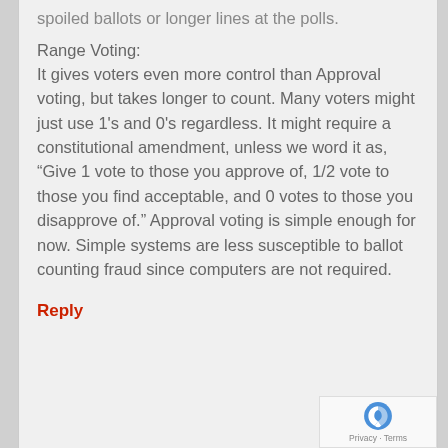spoiled ballots or longer lines at the polls.
Range Voting:
It gives voters even more control than Approval voting, but takes longer to count. Many voters might just use 1's and 0's regardless. It might require a constitutional amendment, unless we word it as, “Give 1 vote to those you approve of, 1/2 vote to those you find acceptable, and 0 votes to those you disapprove of.” Approval voting is simple enough for now. Simple systems are less susceptible to ballot counting fraud since computers are not required.
Reply